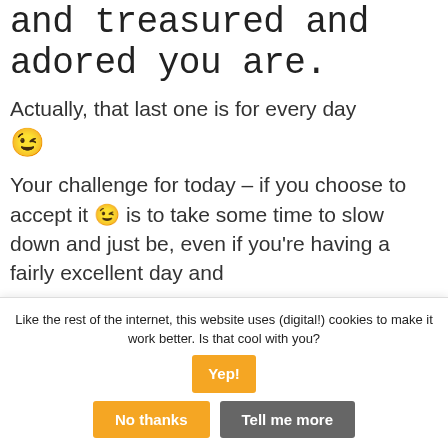and treasured and adored you are.
Actually, that last one is for every day 😉
Your challenge for today – if you choose to accept it 😉 is to take some time to slow down and just be, even if you're having a fairly excellent day and
Like the rest of the internet, this website uses (digital!) cookies to make it work better. Is that cool with you? Yep! No thanks Tell me more